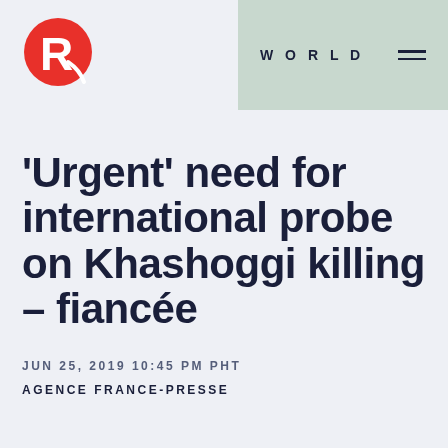[Figure (logo): Rappler logo — red circular icon with stylized R]
WORLD
‘Urgent’ need for international probe on Khashoggi killing – fiancée
JUN 25, 2019 10:45 PM PHT
AGENCE FRANCE-PRESSE